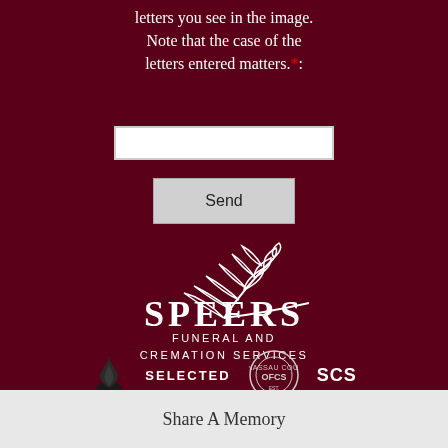letters you see in the image. Note that the case of the letters entered matters.*:
[Figure (other): Text input field (white rectangle for CAPTCHA entry)]
[Figure (other): Send button]
[Figure (logo): Speers Funeral and Cremation Services logo with white wheat/feather graphic on dark red background]
[Figure (logo): Selected Independent Funeral Homes logo and OFCS seal logos at bottom]
Share A Memory